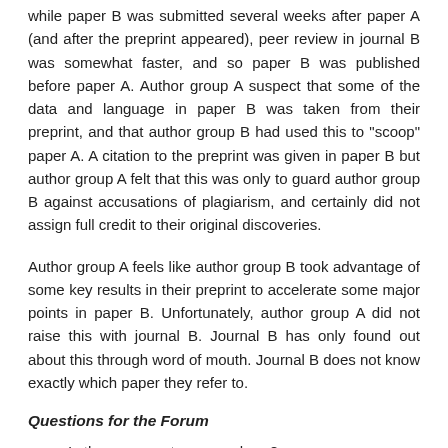while paper B was submitted several weeks after paper A (and after the preprint appeared), peer review in journal B was somewhat faster, and so paper B was published before paper A. Author group A suspect that some of the data and language in paper B was taken from their preprint, and that author group B had used this to "scoop" paper A. A citation to the preprint was given in paper B but author group A felt that this was only to guard author group B against accusations of plagiarism, and certainly did not assign full credit to their original discoveries.
Author group A feels like author group B took advantage of some key results in their preprint to accelerate some major points in paper B. Unfortunately, author group A did not raise this with journal B. Journal B has only found out about this through word of mouth. Journal B does not know exactly which paper they refer to.
Questions for the Forum
Is there a case to answer here?